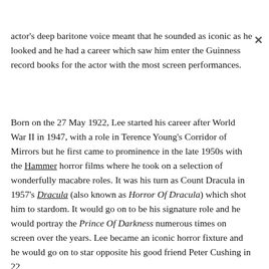actor's deep baritone voice meant that he sounded as iconic as he looked and he had a career which saw him enter the Guinness record books for the actor with the most screen performances.
Born on the 27 May 1922, Lee started his career after World War II in 1947, with a role in Terence Young's Corridor of Mirrors but he first came to prominence in the late 1950s with the Hammer horror films where he took on a selection of wonderfully macabre roles. It was his turn as Count Dracula in 1957's Dracula (also known as Horror Of Dracula) which shot him to stardom. It would go on to be his signature role and he would portray the Prince Of Darkness numerous times on screen over the years. Lee became an iconic horror fixture and he would go on to star opposite his good friend Peter Cushing in 22